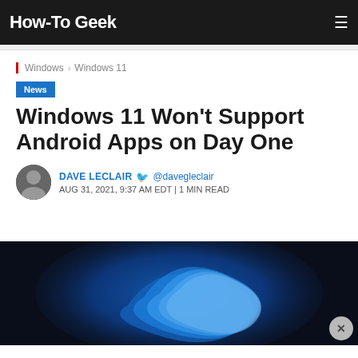How-To Geek
Windows › Windows 11
News
Windows 11 Won't Support Android Apps on Day One
DAVE LECLAIR @davegleclair
AUG 31, 2021, 9:37 AM EDT | 1 MIN READ
[Figure (photo): Windows 11 hero image showing blue swirl logo on dark background]